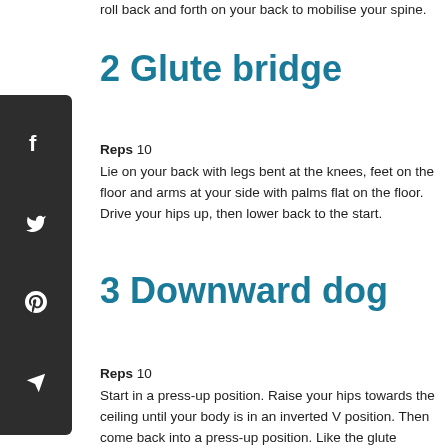roll back and forth on your back to mobilise your spine.
2 Glute bridge
Reps 10
Lie on your back with legs bent at the knees, feet on the floor and arms at your side with palms flat on the floor. Drive your hips up, then lower back to the start.
3 Downward dog
Reps 10
Start in a press-up position. Raise your hips towards the ceiling until your body is in an inverted V position. Then come back into a press-up position. Like the glute bridge, this mobilises the hamstrings, lower back and